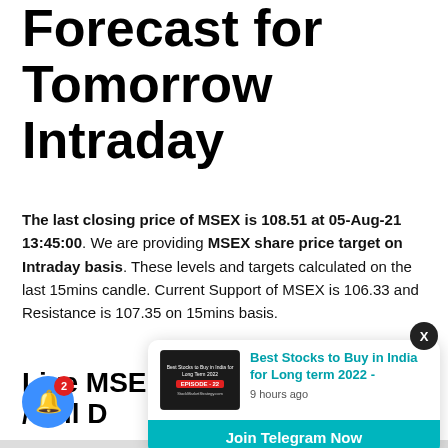Forecast for Tomorrow Intraday
The last closing price of MSEX is 108.51 at 05-Aug-21 13:45:00. We are providing MSEX share price target on Intraday basis. These levels and targets calculated on the last 15mins candle. Current Support of MSEX is 106.33 and Resistance is 107.35 on 15mins basis.
Live MSE... /Sell D...
[Figure (screenshot): Notification popup card showing 'Best Stocks to Buy in India for Long term 2022 - 9 hours ago' with a thumbnail image and a 'Join Telegram Now' button in teal.]